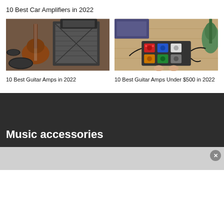10 Best Car Amplifiers in 2022
[Figure (photo): Guitar amplifier stack and electric guitar leaning against it on wooden floor]
10 Best Guitar Amps in 2022
[Figure (photo): Guitar pedal board on wooden floor with electric guitar and amplifier in background, person's bare feet visible]
10 Best Guitar Amps Under $500 in 2022
Music accessories